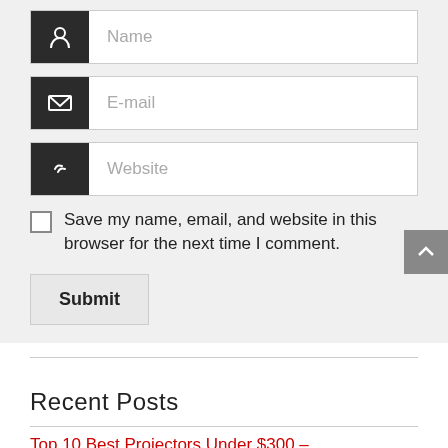[Figure (screenshot): Web form with Name, E-mail, and Website input fields, each with a dark icon box on the left. Below is a checkbox labeled 'Save my name, email, and website in this browser for the next time I comment.' and a Submit button.]
Save my name, email, and website in this browser for the next time I comment.
Recent Posts
Top 10 Best Projectors Under $300 – ProjectorGuided